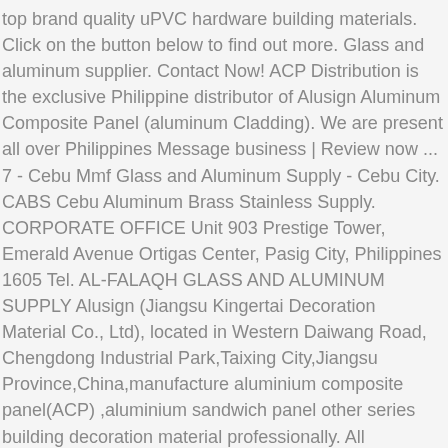top brand quality uPVC hardware building materials. Click on the button below to find out more. Glass and aluminum supplier. Contact Now! ACP Distribution is the exclusive Philippine distributor of Alusign Aluminum Composite Panel (aluminum Cladding). We are present all over Philippines Message business | Review now ... 7 - Cebu Mmf Glass and Aluminum Supply - Cebu City. CABS Cebu Aluminum Brass Stainless Supply. CORPORATE OFFICE Unit 903 Prestige Tower, Emerald Avenue Ortigas Center, Pasig City, Philippines 1605 Tel. AL-FALAQH GLASS AND ALUMINUM SUPPLY Alusign (Jiangsu Kingertai Decoration Material Co., Ltd), located in Western Daiwang Road, Chengdong Industrial Park,Taixing City,Jiangsu Province,China,manufacture aluminium composite panel(ACP) ,aluminium sandwich panel other series building decoration material professionally. All Aluminum Conductor, AAC; Aluminum Conductor Steel Reinforced, ACSR; Duplex, Triplex, Quadruplex; OTHER CABLES. COLOR OPTIONS Marketing. Metal Supplier A wide variety of cebu steel options are available to you,